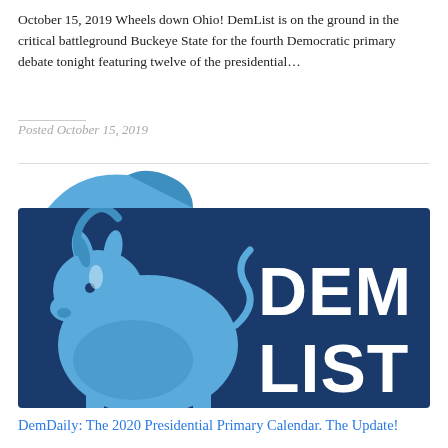October 15, 2019 Wheels down Ohio! DemList is on the ground in the critical battleground Buckeye State for the fourth Democratic primary debate tonight featuring twelve of the presidential...
Posted October 15, 2019
[Figure (logo): DemList logo featuring a blue donkey silhouette on the left and bold white text 'DEM LIST' on a dark blue rectangle background]
DemDaily: The 2020 Presidential Primary Calendar. The Update!